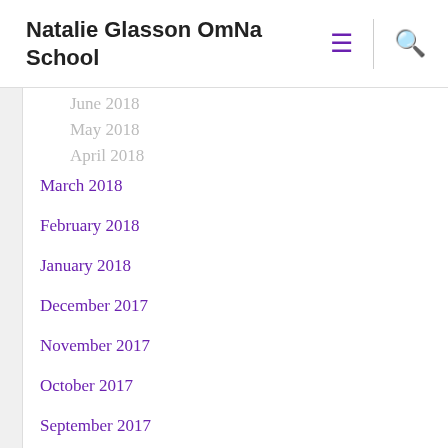Natalie Glasson OmNa School
June 2018
May 2018
April 2018
March 2018
February 2018
January 2018
December 2017
November 2017
October 2017
September 2017
August 2017
July 2017
June 2017
May 2017